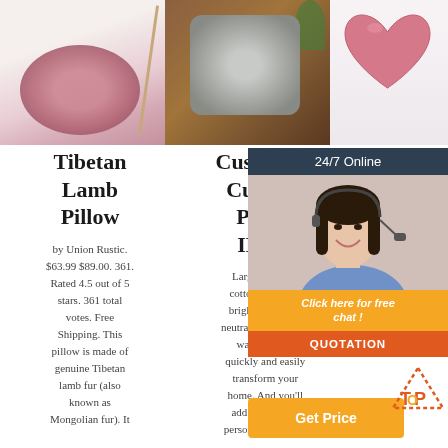[Figure (photo): Pink fluffy round rug on white floor with wooden mirror frame leaning against white wall]
[Figure (photo): Gray fluffy square cushion on brown leather sofa with plant in background]
[Figure (photo): Pink heart-shaped fluffy cushion on white background]
Tibetan Lamb Pillow
by Union Rustic. $63.99 $89.00. 361. Rated 4.5 out of 5 stars. 361 total votes. Free Shipping. This pillow is made of genuine Tibetan lamb fur (also known as Mongolian fur). It
Cushions - Cushion Pads - IKEA
Large or small, cotton or velvet, bright colours or neutral tones. Either way, you can quickly and easily transform your home. And you'll add texture and personality to your
Indulg style cu Acce decor larg cushio delivery & free returns available.
[Figure (infographic): 24/7 Online chat widget with customer service agent photo, orange click here for free chat button, red QUOTATION button, and orange Get Price button with TOP icon]